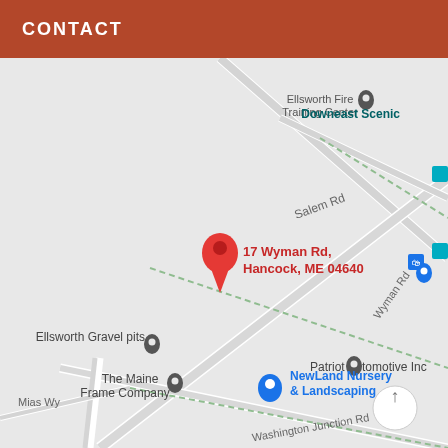CONTACT
[Figure (map): Google Maps screenshot showing the area around 17 Wyman Rd, Hancock, ME 04640. Visible landmarks include Ellsworth Fire Training Center, Downeast Scenic, Pleasant River Lumber, Patriot Automotive Inc, Ellsworth Gravel pits, The Maine Frame Company, NewLand Nursery & Landscaping, Transportation Department. Roads visible include Salem Rd, Wyman Rd, Washington Junction Rd, Mias Wy. A red map pin marks 17 Wyman Rd, Hancock, ME 04640.]